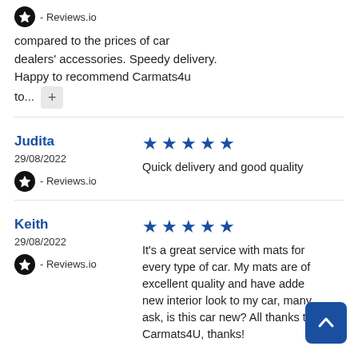compared to the prices of car dealers' accessories. Speedy delivery. Happy to recommend Carmats4u to...
- Reviews.io
Judita
29/08/2022
Quick delivery and good quality
- Reviews.io
Keith
29/08/2022
It's a great service with mats for every type of car. My mats are of excellent quality and have added a new interior look to my car, many ask, is this car new? All thanks to Carmats4U, thanks!
- Reviews.io